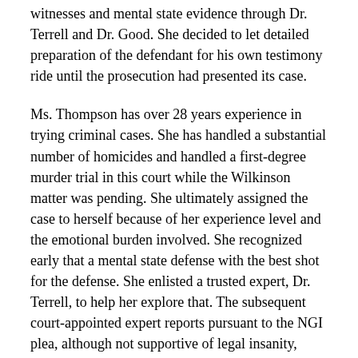witnesses and mental state evidence through Dr. Terrell and Dr. Good. She decided to let detailed preparation of the defendant for his own testimony ride until the prosecution had presented its case.
Ms. Thompson has over 28 years experience in trying criminal cases. She has handled a substantial number of homicides and handled a first-degree murder trial in this court while the Wilkinson matter was pending. She ultimately assigned the case to herself because of her experience level and the emotional burden involved. She recognized early that a mental state defense with the best shot for the defense. She enlisted a trusted expert, Dr. Terrell, to help her explore that. The subsequent court-appointed expert reports pursuant to the NGI plea, although not supportive of legal insanity, produced more material than she could use in presenting the best defense supportable by the evidence. In view of the coroner's conclusion that the